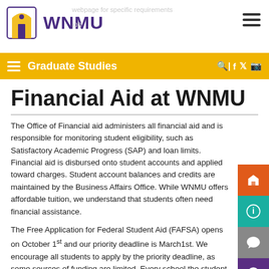WNMU - Graduate Studies
Financial Aid at WNMU
The Office of Financial aid administers all financial aid and is responsible for monitoring student eligibility, such as Satisfactory Academic Progress (SAP) and loan limits. Financial aid is disbursed onto student accounts and applied toward charges. Student account balances and credits are maintained by the Business Affairs Office. While WNMU offers affordable tuition, we understand that students often need financial assistance.
The Free Application for Federal Student Aid (FAFSA) opens on October 1st and our priority deadline is March1st. We encourage all students to apply by the priority deadline, as some sources of funding are limited. Every school the student has applied to or taken classes at (this includes withdrawals & drops), must be reported on the WNMU application for admission. Failure to report this information may result in a